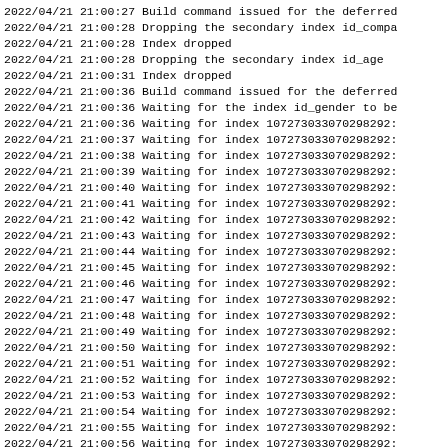2022/04/21 21:00:27 Build command issued for the deferred
2022/04/21 21:00:28 Dropping the secondary index id_compa
2022/04/21 21:00:28 Index dropped
2022/04/21 21:00:28 Dropping the secondary index id_age
2022/04/21 21:00:31 Index dropped
2022/04/21 21:00:36 Build command issued for the deferred
2022/04/21 21:00:36 Waiting for the index id_gender to be
2022/04/21 21:00:36 Waiting for index 107273033070298292:
2022/04/21 21:00:37 Waiting for index 107273033070298292:
2022/04/21 21:00:38 Waiting for index 107273033070298292:
2022/04/21 21:00:39 Waiting for index 107273033070298292:
2022/04/21 21:00:40 Waiting for index 107273033070298292:
2022/04/21 21:00:41 Waiting for index 107273033070298292:
2022/04/21 21:00:42 Waiting for index 107273033070298292:
2022/04/21 21:00:43 Waiting for index 107273033070298292:
2022/04/21 21:00:44 Waiting for index 107273033070298292:
2022/04/21 21:00:45 Waiting for index 107273033070298292:
2022/04/21 21:00:46 Waiting for index 107273033070298292:
2022/04/21 21:00:47 Waiting for index 107273033070298292:
2022/04/21 21:00:48 Waiting for index 107273033070298292:
2022/04/21 21:00:49 Waiting for index 107273033070298292:
2022/04/21 21:00:50 Waiting for index 107273033070298292:
2022/04/21 21:00:51 Waiting for index 107273033070298292:
2022/04/21 21:00:52 Waiting for index 107273033070298292:
2022/04/21 21:00:53 Waiting for index 107273033070298292:
2022/04/21 21:00:54 Waiting for index 107273033070298292:
2022/04/21 21:00:55 Waiting for index 107273033070298292:
2022/04/21 21:00:56 Waiting for index 107273033070298292:
2022/04/21 21:00:57 Waiting for index 107273033070298292:
2022/04/21 21:00:58 Index is 1072730330702982923: now ac